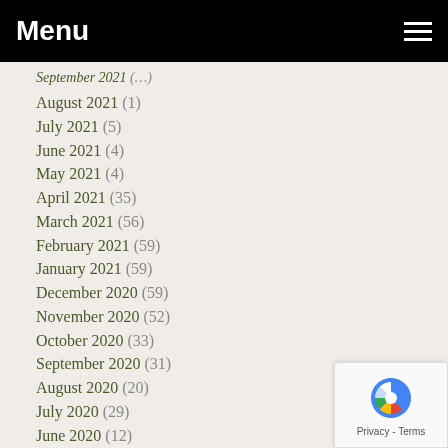Menu
September 2021 (...)
August 2021 (1)
July 2021 (5)
June 2021 (4)
May 2021 (4)
April 2021 (35)
March 2021 (56)
February 2021 (59)
January 2021 (59)
December 2020 (59)
November 2020 (52)
October 2020 (33)
September 2020 (31)
August 2020 (20)
July 2020 (29)
June 2020 (12)
May 2020 (53)
April 2020 (47)
March 2020 (51)